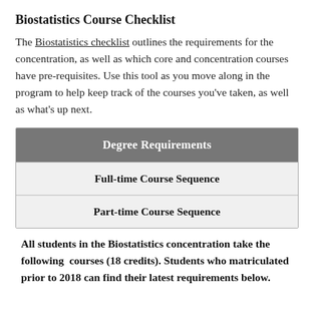Biostatistics Course Checklist
The Biostatistics checklist outlines the requirements for the concentration, as well as which core and concentration courses have pre-requisites. Use this tool as you move along in the program to help keep track of the courses you've taken, as well as what's up next.
| Degree Requirements |
| --- |
| Full-time Course Sequence |
| Part-time Course Sequence |
All students in the Biostatistics concentration take the following courses (18 credits). Students who matriculated prior to 2018 can find their latest requirements below.